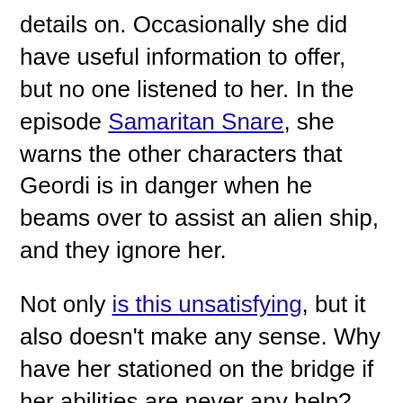details on. Occasionally she did have useful information to offer, but no one listened to her. In the episode Samaritan Snare, she warns the other characters that Geordi is in danger when he beams over to assist an alien ship, and they ignore her.
Not only is this unsatisfying, but it also doesn't make any sense. Why have her stationed on the bridge if her abilities are never any help? And if they're as useful as the show claims, why don't the characters listen to her when she says something is wrong? Because if her powers had worked as advertised, it would destroy the drama.
The Martian Manhunter faced a similar conundrum on the Justice League animated series. In addition